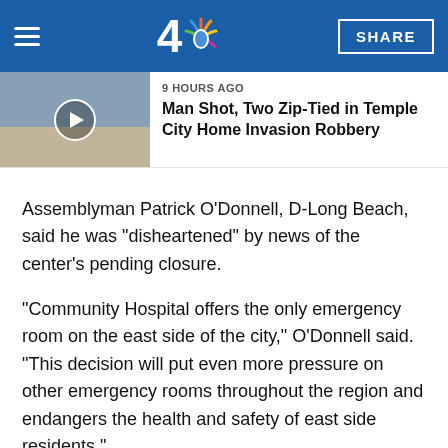NBC 4 | SHARE
[Figure (screenshot): News thumbnail image of a house exterior with a play button overlay]
9 HOURS AGO
Man Shot, Two Zip-Tied in Temple City Home Invasion Robbery
Assemblyman Patrick O'Donnell, D-Long Beach, said he was "disheartened" by news of the center's pending closure.
"Community Hospital offers the only emergency room on the east side of the city," O'Donnell said. "This decision will put even more pressure on other emergency rooms throughout the region and endangers the health and safety of east side residents."
O'Donnell has introduced legislation that would extend the deadline for the facility to achieve seismic compliance until 2025.